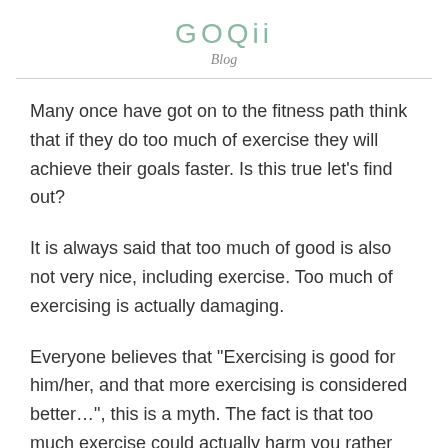GOQii
Blog
Many once have got on to the fitness path think that if they do too much of exercise they will achieve their goals faster. Is this true let’s find out?
It is always said that too much of good is also not very nice, including exercise. Too much of exercising is actually damaging.
Everyone believes that “Exercising is good for him/her, and that more exercising is considered better…”, this is a myth. The fact is that too much exercise could actually harm you rather than